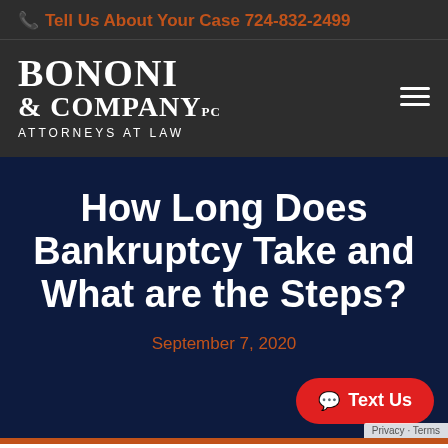Tell Us About Your Case 724-832-2499
[Figure (logo): Bononi & Company PC, Attorneys at Law law firm logo in white text on dark background]
How Long Does Bankruptcy Take and What are the Steps?
September 7, 2020